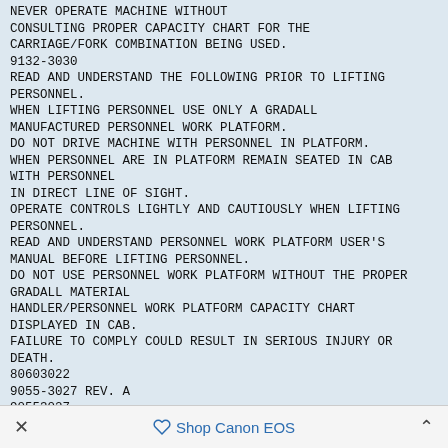NEVER OPERATE MACHINE WITHOUT CONSULTING PROPER CAPACITY CHART FOR THE CARRIAGE/FORK COMBINATION BEING USED.
9132-3030
READ AND UNDERSTAND THE FOLLOWING PRIOR TO LIFTING PERSONNEL.
WHEN LIFTING PERSONNEL USE ONLY A GRADALL MANUFACTURED PERSONNEL WORK PLATFORM.
DO NOT DRIVE MACHINE WITH PERSONNEL IN PLATFORM.
WHEN PERSONNEL ARE IN PLATFORM REMAIN SEATED IN CAB WITH PERSONNEL
IN DIRECT LINE OF SIGHT.
OPERATE CONTROLS LIGHTLY AND CAUTIOUSLY WHEN LIFTING PERSONNEL.
READ AND UNDERSTAND PERSONNEL WORK PLATFORM USER'S MANUAL BEFORE LIFTING PERSONNEL.
DO NOT USE PERSONNEL WORK PLATFORM WITHOUT THE PROPER GRADALL MATERIAL
HANDLER/PERSONNEL WORK PLATFORM CAPACITY CHART DISPLAYED IN CAB.
FAILURE TO COMPLY COULD RESULT IN SERIOUS INJURY OR DEATH.
80603022
9055-3027 REV. A
90553027
AVOID HIGH VOLTAGE LINES.
IT IS UNLAWFUL TO PLACE
ANY PART OF THIS MACHINE
OR LOAD WITHIN 10 FEET
× Shop Canon EOS ^